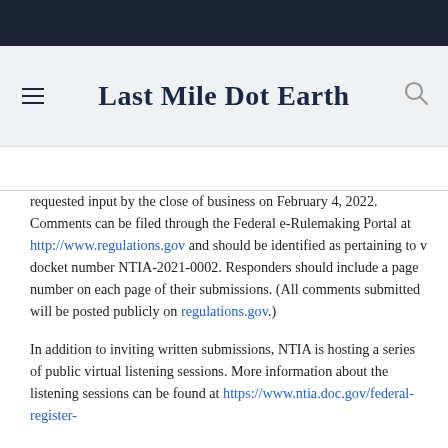Last Mile Dot Earth
requested input by the close of business on February 4, 2022. Comments can be filed through the Federal e-Rulemaking Portal at http://www.regulations.gov and should be identified as pertaining to v docket number NTIA-2021-0002. Responders should include a page number on each page of their submissions. (All comments submitted will be posted publicly on regulations.gov.)
In addition to inviting written submissions, NTIA is hosting a series of public virtual listening sessions. More information about the listening sessions can be found at https://www.ntia.doc.gov/federal-register-